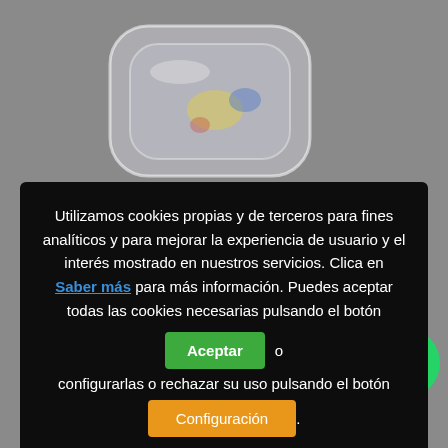[Figure (photo): Gray background with a glass auto part visible at the top of the page behind a cookie consent overlay]
Utilizamos cookies propias y de terceros para fines analíticos y para mejorar la experiencia de usuario y el interés mostrado en nuestros servicios. Clica en Saber más para más información. Puedes aceptar todas las cookies necesarias pulsando el botón Aceptar o configurarlas o rechazar su uso pulsando el botón Configuración.
VOLKSWAGEN TRANSPORTER V Furgón 1.9 TDI (63 KW / 85 CV) (04.2003 – 11.2009)
60,50€